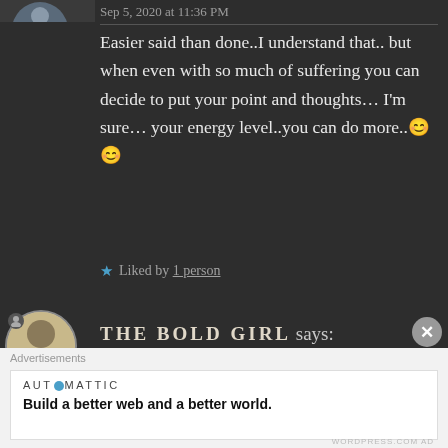Sep 5, 2020 at 11:36 PM
Easier said than done..I understand that.. but when even with so much of suffering you can decide to put your point and thoughts… I'm sure… your energy level..you can do more..😊😊
★ Liked by 1 person
THE BOLD GIRL says:
Advertisements
AUTOMATTIC
Build a better web and a better world.